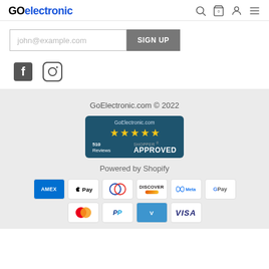GOelectronic
john@example.com
SIGN UP
[Figure (logo): Facebook and Instagram social media icons]
GoElectronic.com © 2022
[Figure (other): GoElectronic.com Shopper Approved badge with 5 stars and 510 Reviews]
Powered by Shopify
[Figure (other): Payment method icons: AMEX, Apple Pay, Diners Club, Discover, Meta Pay, Google Pay, Mastercard, PayPal, Venmo, VISA]